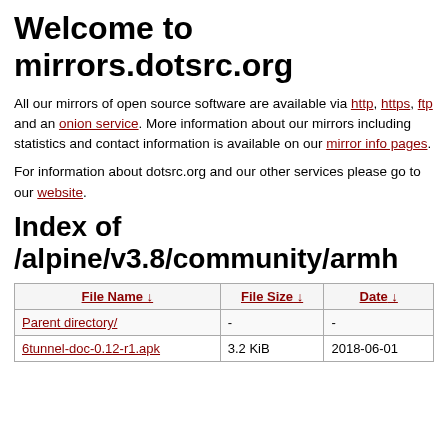Welcome to mirrors.dotsrc.org
All our mirrors of open source software are available via http, https, ftp and an onion service. More information about our mirrors including statistics and contact information is available on our mirror info pages.
For information about dotsrc.org and our other services please go to our website.
Index of /alpine/v3.8/community/armh
| File Name ↓ | File Size ↓ | Date ↓ |
| --- | --- | --- |
| Parent directory/ | - | - |
| 6tunnel-doc-0.12-r1.apk | 3.2 KiB | 2018-06-01 |